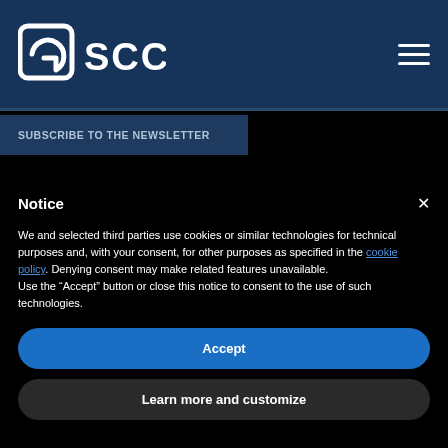[Figure (logo): SCC logo with stylized G icon and 'SCC' text in white on dark navy background, plus hamburger menu icon top right]
SUBSCRIBE TO THE NEWSLETTER
Notice
We and selected third parties use cookies or similar technologies for technical purposes and, with your consent, for other purposes as specified in the cookie policy. Denying consent may make related features unavailable.
Use the “Accept” button or close this notice to consent to the use of such technologies.
Accept
Learn more and customize